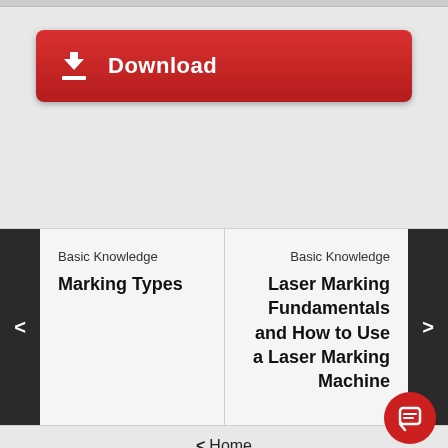[Figure (screenshot): Red download button with white download arrow icon and bold white text 'Download']
[Figure (screenshot): Carousel navigation section with two cards: left card 'Basic Knowledge / Marking Types', right card 'Basic Knowledge / Laser Marking Fundamentals and How to Use a Laser Marking Machine', with left and right arrow buttons]
< Home
[Figure (illustration): Red circular chat/speech bubble icon button in bottom right corner]